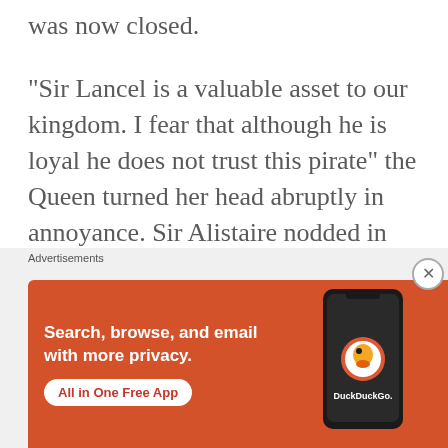was now closed.
“Sir Lancel is a valuable asset to our kingdom.  I fear that although he is loyal he does not trust this pirate” the Queen turned her head abruptly in annoyance.  Sir Alistaire nodded in apology “he does not trust this privateer, I believe this is the best outcome if we are to recover the Shard.”
The Queen turned her head abruptly in the d
Advertisements
[Figure (infographic): DuckDuckGo advertisement banner with orange background showing text 'Search, browse, and email with more privacy.' with 'All in One Free App' button and phone illustration with DuckDuckGo logo]